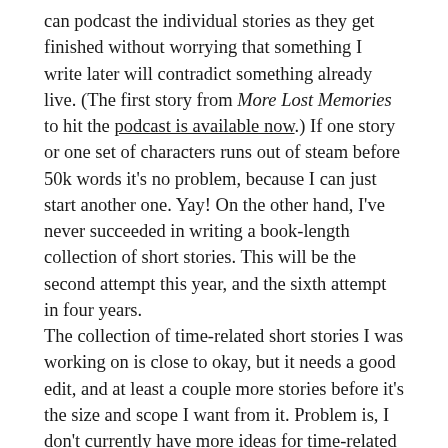can podcast the individual stories as they get finished without worrying that something I write later will contradict something already live. (The first story from More Lost Memories to hit the podcast is available now.) If one story or one set of characters runs out of steam before 50k words it's no problem, because I can just start another one. Yay! On the other hand, I've never succeeded in writing a book-length collection of short stories. This will be the second attempt this year, and the sixth attempt in four years.
The collection of time-related short stories I was working on is close to okay, but it needs a good edit, and at least a couple more stories before it's the size and scope I want from it. Problem is, I don't currently have more ideas for time-related short stories. Hopefully I'll come up with some in 2009. You can see four of the stories in their current state